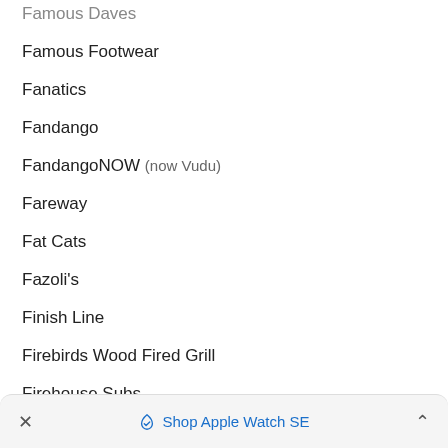Famous Daves
Famous Footwear
Fanatics
Fandango
FandangoNOW (now Vudu)
Fareway
Fat Cats
Fazoli's
Finish Line
Firebirds Wood Fired Grill
Firehouse Subs
First Watch
Five Below
Fleming's
Flix Brewhouse
Fogo de Chao
Shop Apple Watch SE